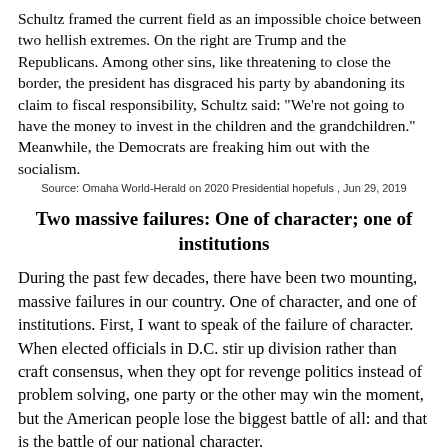Schultz framed the current field as an impossible choice between two hellish extremes. On the right are Trump and the Republicans. Among other sins, like threatening to close the border, the president has disgraced his party by abandoning its claim to fiscal responsibility, Schultz said: "We're not going to have the money to invest in the children and the grandchildren." Meanwhile, the Democrats are freaking him out with the socialism.
Source: Omaha World-Herald on 2020 Presidential hopefuls , Jun 29, 2019
Two massive failures: One of character; one of institutions
During the past few decades, there have been two mounting, massive failures in our country. One of character, and one of institutions. First, I want to speak of the failure of character. When elected officials in D.C. stir up division rather than craft consensus, when they opt for revenge politics instead of problem solving, one party or the other may win the moment, but the American people lose the biggest battle of all: and that is the battle of our national character.
A lack of character at the highest levels of government is related to the second significant failure of our times, which is institutional: primarily our two-party system, which has devolved into a self-interested duopoly, is not serving the American people. When our political parties accept millions of dollars in contributions from lobbyists, Congress acts in the interest of lobbyists, not in the interest of the America people.